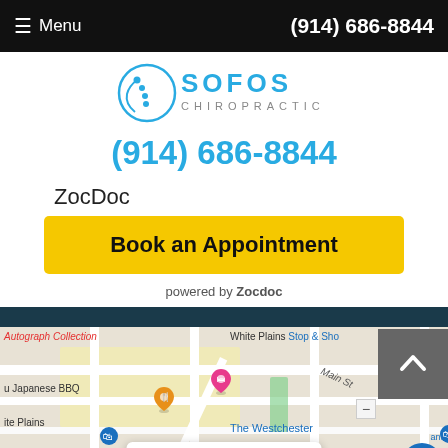☰ Menu   (914) 686-8844
[Figure (logo): Sofos Chiropractic logo with circular spine graphic and blue text]
(914) 686-8844
ZocDoc
Book an Appointment
powered by Zocdoc
[Figure (map): Google Maps showing White Plains area with Sofos Chiropractic location popup showing 225 Mamaroneck Ave #105]